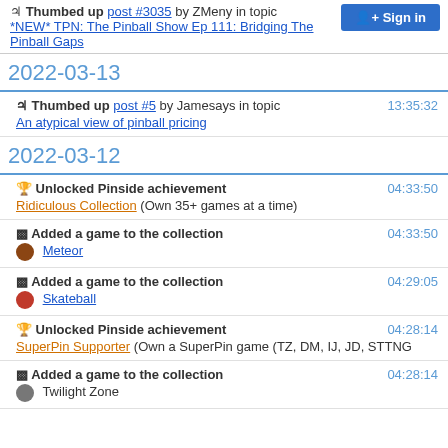Thumbed up post #3035 by ZMeny in topic *NEW* TPN: The Pinball Show Ep 111: Bridging The Pinball Gaps
2022-03-13
Thumbed up post #5 by Jamesays in topic An atypical view of pinball pricing — 13:35:32
2022-03-12
Unlocked Pinside achievement — 04:33:50 — Ridiculous Collection (Own 35+ games at a time)
Added a game to the collection — 04:33:50 — Meteor
Added a game to the collection — 04:29:05 — Skateball
Unlocked Pinside achievement — 04:28:14 — SuperPin Supporter (Own a SuperPin game (TZ, DM, IJ, JD, STTNG
Added a game to the collection — 04:28:14 — Twilight Zone